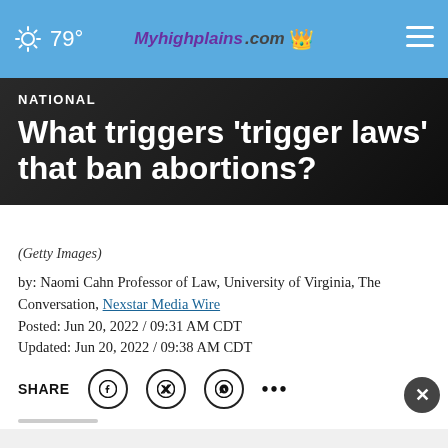79° Myhighplains.com
NATIONAL
What triggers 'trigger laws' that ban abortions?
(Getty Images)
by: Naomi Cahn Professor of Law, University of Virginia, The Conversation, Nexstar Media Wire
Posted: Jun 20, 2022 / 09:31 AM CDT
Updated: Jun 20, 2022 / 09:38 AM CDT
SHARE
[Figure (screenshot): Advertisement banner: Adopt a teen. You can't imagine the reward. AdoptUSKids logo and ad badge.]
(The C...